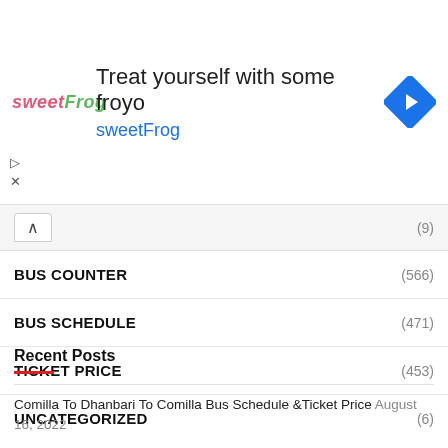[Figure (other): Advertisement banner for sweetFrog frozen yogurt. Shows sweetFrog logo, text 'Treat yourself with some froyo', 'sweetFrog', and a blue diamond navigation icon.]
(9)
BUS COUNTER (566)
BUS SCHEDULE (471)
TICKET PRICE (453)
UNCATEGORIZED (6)
Recent Posts
Comilla To Dhanbari To Comilla Bus Schedule &Ticket Price August 16, 2022
Khulna To Mohakhali To Khulna Bus Schedule &Ticket Price